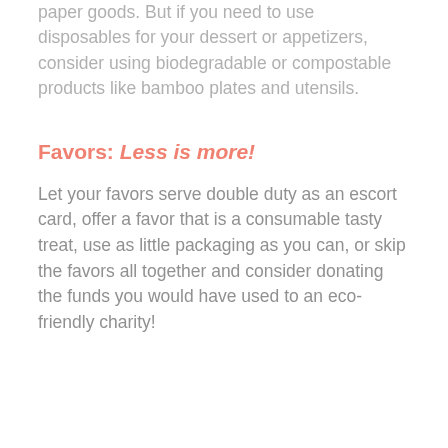paper goods. But if you need to use disposables for your dessert or appetizers, consider using biodegradable or compostable products like bamboo plates and utensils.
Favors: Less is more!
Let your favors serve double duty as an escort card, offer a favor that is a consumable tasty treat, use as little packaging as you can, or skip the favors all together and consider donating the funds you would have used to an eco-friendly charity!